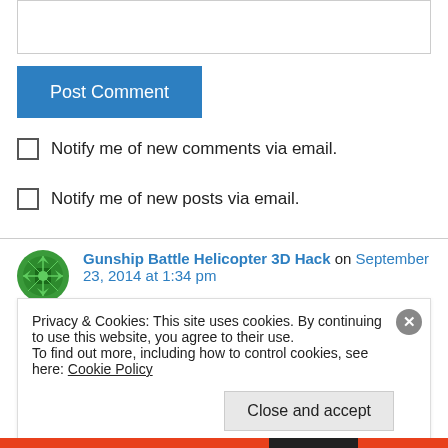[Figure (other): Text input box for comment entry]
Post Comment
Notify me of new comments via email.
Notify me of new posts via email.
Gunship Battle Helicopter 3D Hack on September 23, 2014 at 1:34 pm
Privacy & Cookies: This site uses cookies. By continuing to use this website, you agree to their use. To find out more, including how to control cookies, see here: Cookie Policy
Close and accept